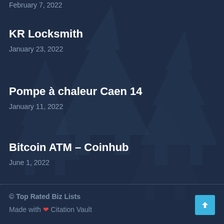February 7, 2022 (partial, cut off at top)
KR Locksmith
January 23, 2022
Pompe à chaleur Caen 14
January 11, 2022
Bitcoin ATM – Coinhub
June 1, 2022
© Top Rated Biz Lists
Made with ❤ Citation Vault